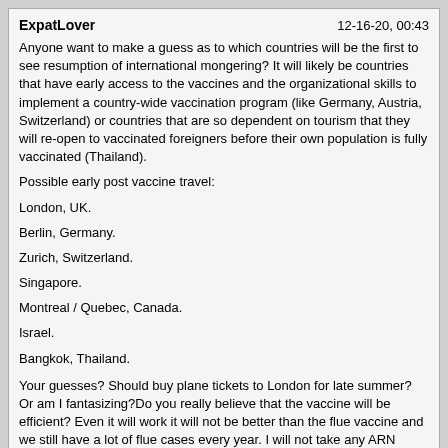ExpatLover   12-16-20, 00:43
Anyone want to make a guess as to which countries will be the first to see resumption of international mongering? It will likely be countries that have early access to the vaccines and the organizational skills to implement a country-wide vaccination program (like Germany, Austria, Switzerland) or countries that are so dependent on tourism that they will re-open to vaccinated foreigners before their own population is fully vaccinated (Thailand).
Possible early post vaccine travel:
London, UK.
Berlin, Germany.
Zurich, Switzerland.
Singapore.
Montreal / Quebec, Canada.
Israel.
Bangkok, Thailand.
Your guesses? Should buy plane tickets to London for late summer? Or am I fantasizing?Do you really believe that the vaccine will be efficient? Even it will work it will not be better than the flue vaccine and we still have a lot of flue cases every year. I will not take any ARN vaccine that is for sure and so many people will do the same. At the end what matters is the number of deaths and as long they are high life will not come back to normal.
Mursenary   12-16-20, 01:13
Heck, every time I am in Spain I hit up random girls for one night stands in normal discos.Bahahahaha. Almost died laughing.